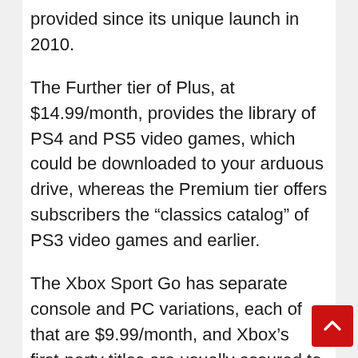provided since its unique launch in 2010.
The Further tier of Plus, at $14.99/month, provides the library of PS4 and PS5 video games, which could be downloaded to your arduous drive, whereas the Premium tier offers subscribers the “classics catalog” of PS3 video games and earlier.
The Xbox Sport Go has separate console and PC variations, each of that are $9.99/month, and Xbox’s first-party titles are usually assured to seem on Sport Go on the identical day as their retail launch.
For $14.99/month, you’ll be able to improve to the Final model of Sport Go, which works on each PC and console concurrently, in addition